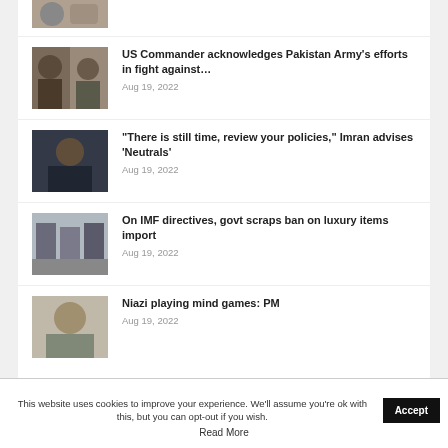[Figure (photo): Partial thumbnail image at top, cropped]
US Commander acknowledges Pakistan Army's efforts in fight against…
Aug 19, 2022
[Figure (photo): Photo of Imran Khan seated at a desk]
“There is still time, review your policies,” Imran advises ‘Neutrals’
Aug 19, 2022
[Figure (photo): Photo of officials at a press conference]
On IMF directives, govt scraps ban on luxury items import
Aug 19, 2022
[Figure (photo): Photo of PM Shehbaz Sharif]
Niazi playing mind games: PM
Aug 19, 2022
This website uses cookies to improve your experience. We'll assume you're ok with this, but you can opt-out if you wish.
Accept
Read More